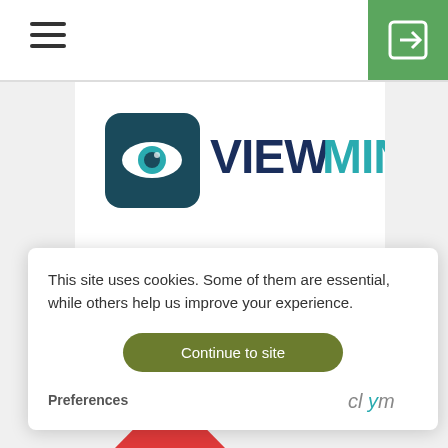[Figure (screenshot): ViewMind logo with eye icon in dark teal square and bold VIEWMIND text in dark navy and teal]
This site uses cookies. Some of them are essential, while others help us improve your experience.
Continue to site
Preferences
[Figure (logo): Clym logo in gray text]
92